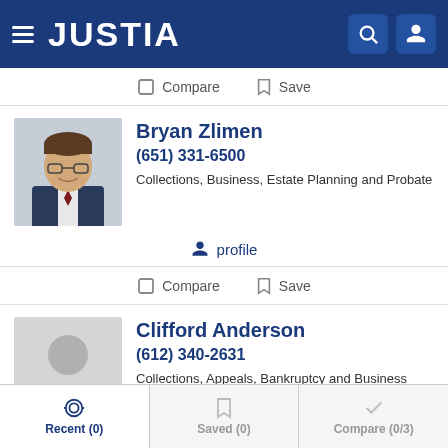[Figure (screenshot): Justia website header with hamburger menu, Justia logo, search and user icons on dark blue background]
Compare  Save
[Figure (photo): Photo of Bryan Zlimen, a young man with glasses smiling, wearing a suit]
Bryan Zlimen
(651) 331-6500
Collections, Business, Estate Planning and Probate
profile
Compare  Save
[Figure (photo): Placeholder silhouette photo for Clifford Anderson]
Clifford Anderson
(612) 340-2631
Collections, Appeals, Bankruptcy and Business
Recent (0)  Saved (0)  Compare (0/3)